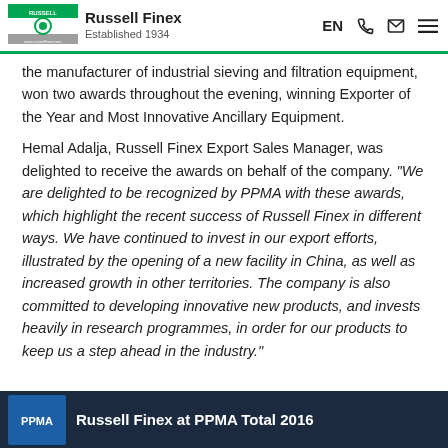Russell Finex Established 1934
the manufacturer of industrial sieving and filtration equipment, won two awards throughout the evening, winning Exporter of the Year and Most Innovative Ancillary Equipment.
Hemal Adalja, Russell Finex Export Sales Manager, was delighted to receive the awards on behalf of the company. “We are delighted to be recognized by PPMA with these awards, which highlight the recent success of Russell Finex in different ways. We have continued to invest in our export efforts, illustrated by the opening of a new facility in China, as well as increased growth in other territories. The company is also committed to developing innovative new products, and invests heavily in research programmes, in order for our products to keep us a step ahead in the industry.”
[Figure (photo): Russell Finex at PPMA Total 2016 event photo with PPMA logo visible]